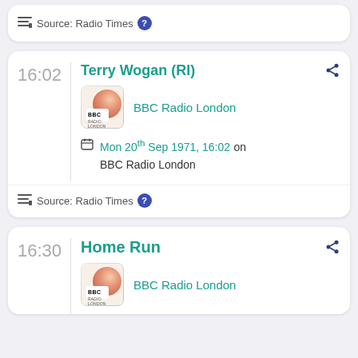BBC Radio London
Source: Radio Times
16:02 Terry Wogan (RI)
BBC Radio London
Mon 20th Sep 1971, 16:02 on BBC Radio London
Source: Radio Times
16:30 Home Run
BBC Radio London